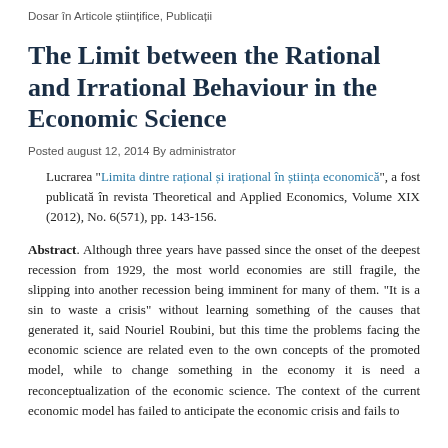Dosar în Articole științifice, Publicații
The Limit between the Rational and Irrational Behaviour in the Economic Science
Posted august 12, 2014 By administrator
Lucrarea "Limita dintre rațional și irațional în știința economică", a fost publicată în revista Theoretical and Applied Economics, Volume XIX (2012), No. 6(571), pp. 143-156.
Abstract. Although three years have passed since the onset of the deepest recession from 1929, the most world economies are still fragile, the slipping into another recession being imminent for many of them. "It is a sin to waste a crisis" without learning something of the causes that generated it, said Nouriel Roubini, but this time the problems facing the economic science are related even to the own concepts of the promoted model, while to change something in the economy it is need a reconceptualization of the economic science. The context of the current economic model has failed to anticipate the economic crisis and fails to